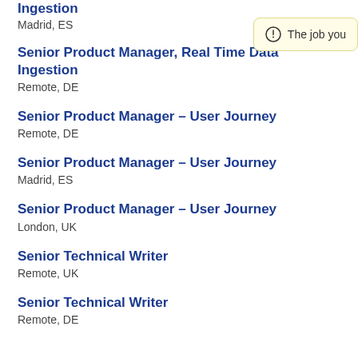Ingestion
Madrid, ES
Senior Product Manager, Real Time Data Ingestion
Remote, DE
Senior Product Manager – User Journey
Remote, DE
Senior Product Manager – User Journey
Madrid, ES
Senior Product Manager – User Journey
London, UK
Senior Technical Writer
Remote, UK
Senior Technical Writer
Remote, DE